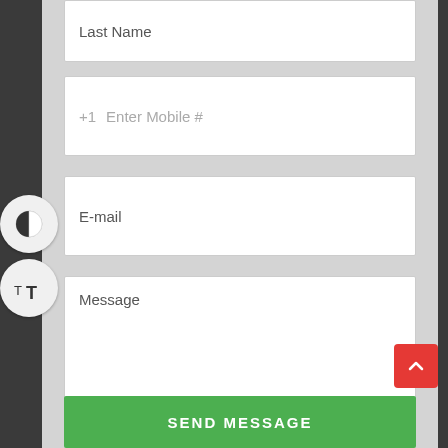Last Name
+1  Enter Mobile #
E-mail
Message
SEND MESSAGE